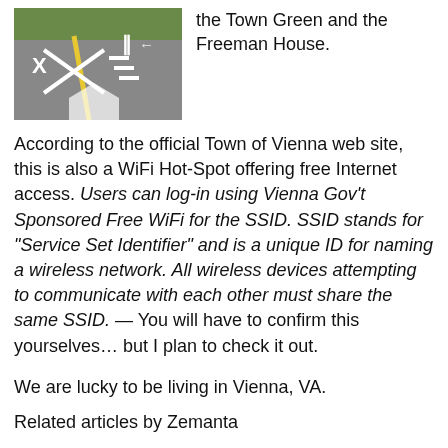[Figure (photo): Aerial or top-down view of a road with white painted road markings including X and parallel lines, with green grass on the side.]
the Town Green and the Freeman House.
According to the official Town of Vienna web site, this is also a WiFi Hot-Spot offering free Internet access. Users can log-in using Vienna Gov't Sponsored Free WiFi for the SSID. SSID stands for "Service Set Identifier" and is a unique ID for naming a wireless network. All wireless devices attempting to communicate with each other must share the same SSID. — You will have to confirm this yourselves… but I plan to check it out.
We are lucky to be living in Vienna, VA.
Related articles by Zemanta